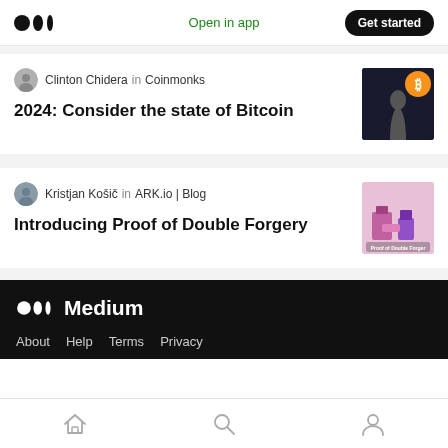Medium — Open in app | Get started
Clinton Chidera in Coinmonks
2024: Consider the state of Bitcoin
[Figure (photo): Article thumbnail: muscular figure with Bitcoin logo overlay]
Kristjan Košič in ARK.io | Blog
Introducing Proof of Double Forgery
[Figure (illustration): Article thumbnail: Proof of Double Forgery ARK.io illustration]
Medium — About  Help  Terms  Privacy
Home  Search  Profile navigation icons